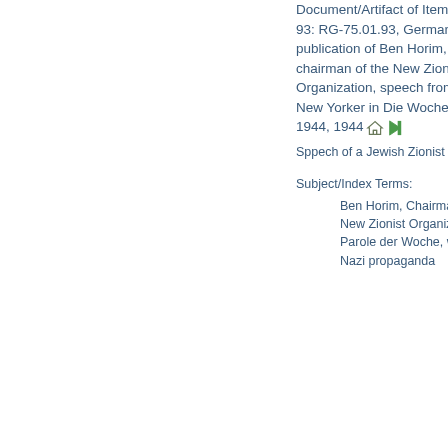Document/Artifact of Item-Level 93: RG-75.01.93, German publication of Ben Horim, chairman of the New Zionist Organization, speech from the New Yorker in Die Woche, ca 1944, 1944
Sppech of a Jewish Zionist leader
Subject/Index Terms:
Ben Horim, Chairman of the New Zionist Organization
Parole der Woche, weekly Nazi propaganda